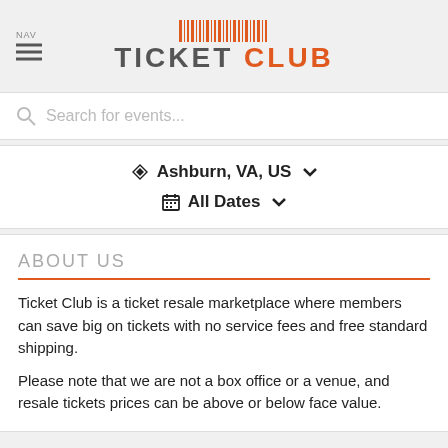NAV  TICKET CLUB
Search for events...
Ashburn, VA, US  All Dates
ABOUT US
Ticket Club is a ticket resale marketplace where members can save big on tickets with no service fees and free standard shipping.
Please note that we are not a box office or a venue, and resale tickets prices can be above or below face value.
BUCKCHERRY